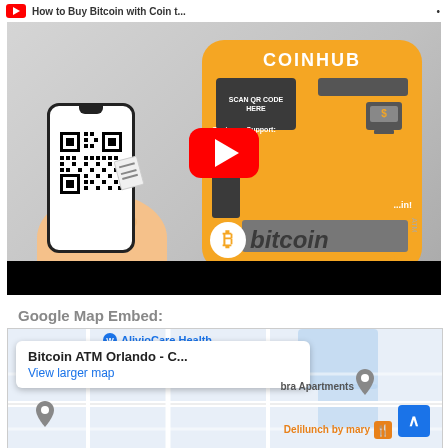[Figure (screenshot): YouTube video thumbnail showing a Coinhub Bitcoin ATM machine with a hand holding a phone displaying a QR code. The video title reads 'How to Buy Bitcoin with Coin...' with a YouTube play button overlay.]
Google Map Embed:
[Figure (map): Google Map embed showing the location of Bitcoin ATM Orlando - C... with a popup showing 'Bitcoin ATM Orlando - C...' and 'View larger map' link. Nearby landmarks include AlivioCare Health, bra Apartments, and Delilunch by mary.]